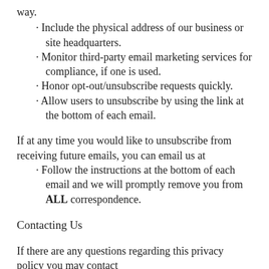way.
· Include the physical address of our business or site headquarters.
· Monitor third-party email marketing services for compliance, if one is used.
· Honor opt-out/unsubscribe requests quickly.
· Allow users to unsubscribe by using the link at the bottom of each email.
If at any time you would like to unsubscribe from receiving future emails, you can email us at
· Follow the instructions at the bottom of each email and we will promptly remove you from ALL correspondence.
Contacting Us
If there are any questions regarding this privacy policy you may contact